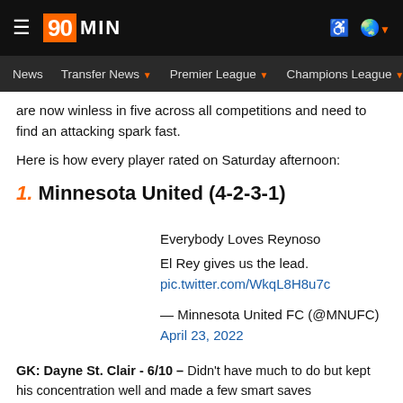90MIN — News | Transfer News | Premier League | Champions League | Eu
are now winless in five across all competitions and need to find an attacking spark fast.
Here is how every player rated on Saturday afternoon:
1. Minnesota United (4-2-3-1)
Everybody Loves Reynoso

El Rey gives us the lead. pic.twitter.com/WkqL8H8u7c

— Minnesota United FC (@MNUFC) April 23, 2022
GK: Dayne St. Clair - 6/10 – Didn't have much to do but kept his concentration well and made a few smart saves